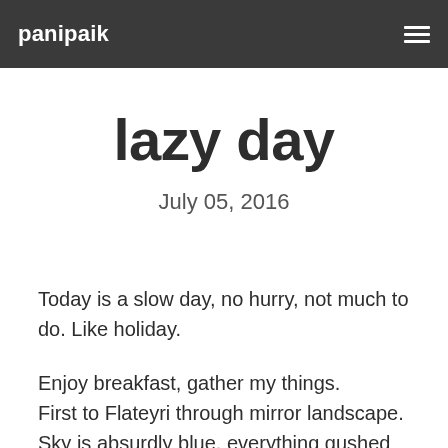panipaik
lazy day
July 05, 2016
Today is a slow day, no hurry, not much to do. Like holiday.
Enjoy breakfast, gather my things.
First to Flateyri through mirror landscape. Sky is absurdly blue, everything gushed over with sunshine.